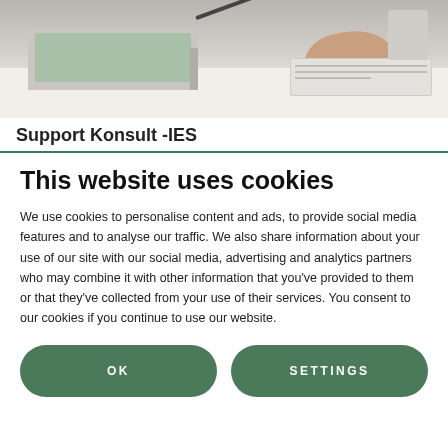[Figure (photo): Photo of a person's hands near a laptop and notebook on a desk]
Support Konsult -IES
This website uses cookies
We use cookies to personalise content and ads, to provide social media features and to analyse our traffic. We also share information about your use of our site with our social media, advertising and analytics partners who may combine it with other information that you've provided to them or that they've collected from your use of their services. You consent to our cookies if you continue to use our website.
OK
SETTINGS